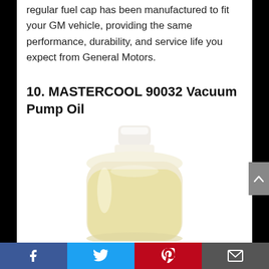regular fuel cap has been manufactured to fit your GM vehicle, providing the same performance, durability, and service life you expect from General Motors.
10. MASTERCOOL 90032 Vacuum Pump Oil
[Figure (photo): A bottle of Mastercool 90032 Vacuum Pump Oil — a translucent pale yellow liquid in a rounded clear/amber plastic bottle with a white screw cap.]
Facebook | Twitter | Pinterest | Email social sharing bar